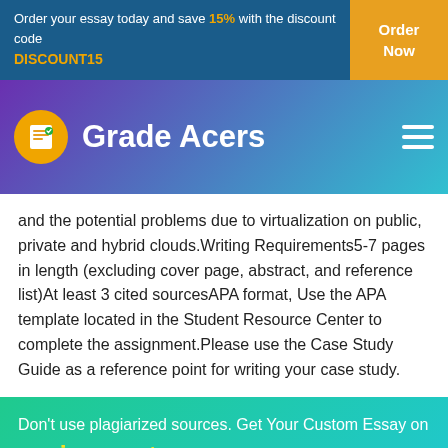Order your essay today and save 15% with the discount code DISCOUNT15
and the potential problems due to virtualization on public, private and hybrid clouds.Writing Requirements5-7 pages in length (excluding cover page, abstract, and reference list)At least 3 cited sourcesAPA format, Use the APA template located in the Student Resource Center to complete the assignment.Please use the Case Study Guide as a reference point for writing your case study.
Don't use plagiarized sources. Get Your Custom Essay on
assignment
Just from $13/Page